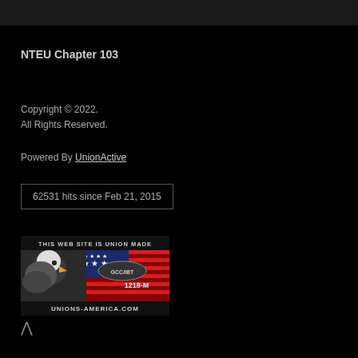NTEU Chapter 103
Copyright © 2022.
All Rights Reserved.
Powered By UnionActive
62531 hits since Feb 21, 2015
[Figure (illustration): Union-made website badge featuring a bald eagle with American flag, GCC/IBT logo, 1218-M, and UNIONS-AMERICA.COM text]
^